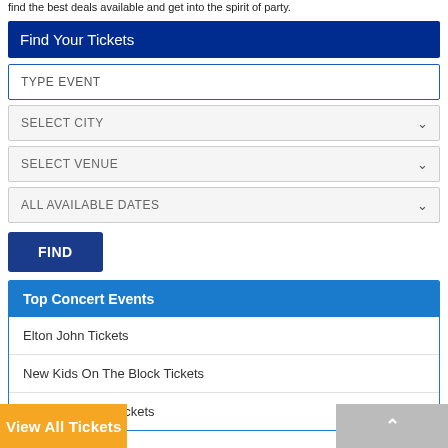find the best deals available and get into the spirit of party.
Find Your Tickets
TYPE EVENT
SELECT CITY
SELECT VENUE
ALL AVAILABLE DATES
FIND
Top Concert Events
Elton John Tickets
New Kids On The Block Tickets
Hillsong United Tickets
View All Tickets